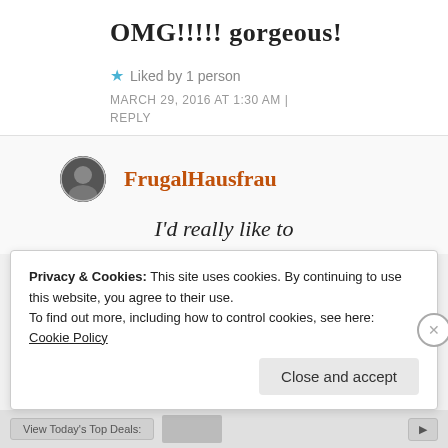OMG!!!!! gorgeous!
Liked by 1 person
MARCH 29, 2016 AT 1:30 AM | REPLY
FrugalHausfrau
I'd really like to
Privacy & Cookies: This site uses cookies. By continuing to use this website, you agree to their use.
To find out more, including how to control cookies, see here:
Cookie Policy
Close and accept